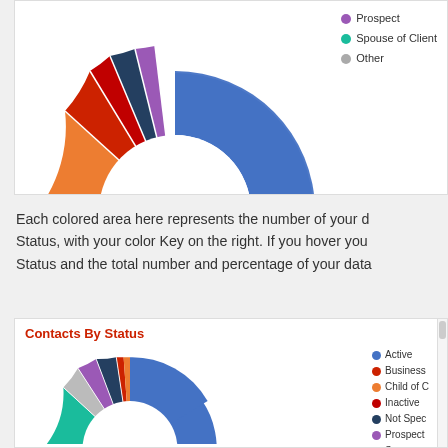[Figure (donut-chart): Donut chart showing contacts by status. Large blue slice (Active) dominates, with smaller slices for Business, Child of Client, Inactive, Not Specified, Prospect, Spouse of Client, Other.]
Each colored area here represents the number of your d... Status, with your color Key on the right. If you hover you... Status and the total number and percentage of your data...
[Figure (donut-chart): Donut chart showing contacts by status with legend: Active, Business, Child of Client, Inactive, Not Specified, Prospect, Spouse of Client, Other.]